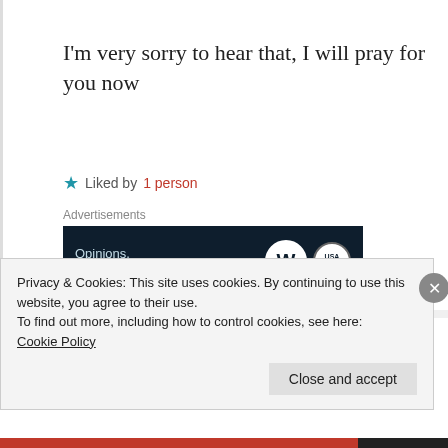I'm very sorry to hear that, I will pray for you now
Liked by 1 person
Advertisements
[Figure (other): WordPress advertisement banner: 'Opinions. We all have them!' with WordPress logo and another logo on dark navy background]
REPORT THIS AD
hawk2017
Privacy & Cookies: This site uses cookies. By continuing to use this website, you agree to their use.
To find out more, including how to control cookies, see here:
Cookie Policy
Close and accept